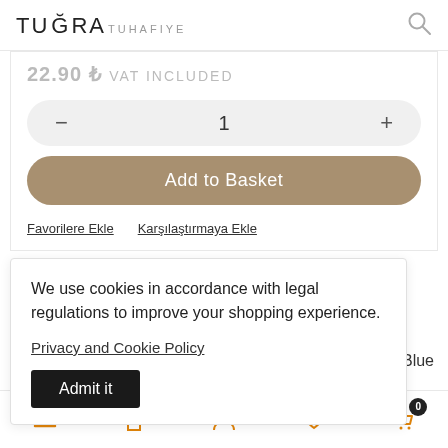TUĞRA TUHAFIYE
22.90 ₺ VAT INCLUDED
- 1 +
Add to Basket
Favorilere Ekle   Karşılaştırmaya Ekle
We use cookies in accordance with legal regulations to improve your shopping experience.
Privacy and Cookie Policy
Admit it
ne - Navy Blue
≡  🏠  👤  ♡ 0  🛒 0